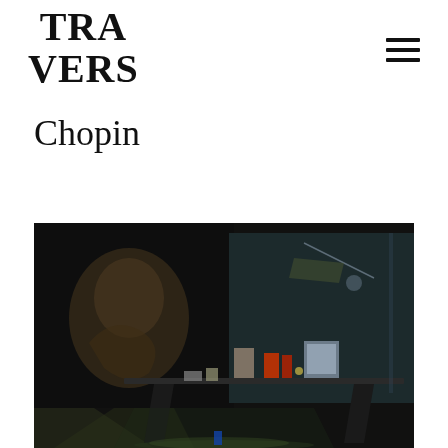TRA VERS
Chopin
[Figure (photo): A dark theatrical stage installation photograph showing a table with various objects and projected imagery of a figure onto backdrop screens, with dramatic lighting.]